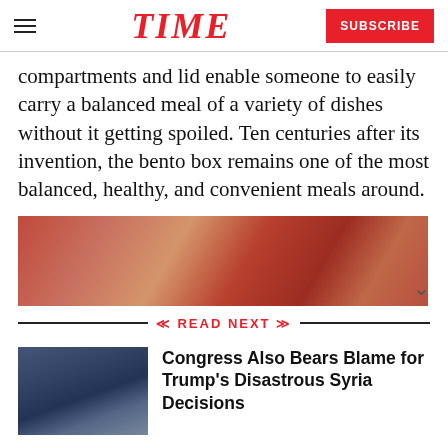TIME | SUBSCRIBE
compartments and lid enable someone to easily carry a balanced meal of a variety of dishes without it getting spoiled. Ten centuries after its invention, the bento box remains one of the most balanced, healthy, and convenient meals around.
[Figure (photo): Blurred warm-toned background image, reddish-brown tones, partially visible at bottom of article]
READ NEXT
[Figure (photo): Thumbnail image of political figures at a table, blue/dark tones]
Congress Also Bears Blame for Trump's Disastrous Syria Decisions